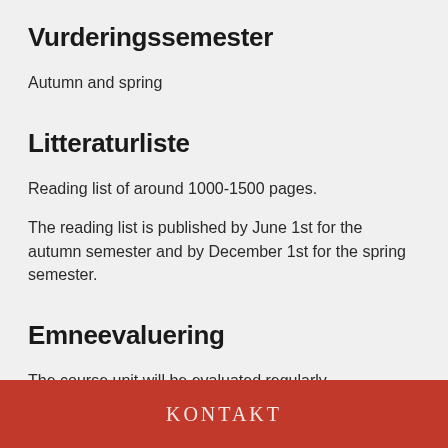Vurderingssemester
Autumn and spring
Litteraturliste
Reading list of around 1000-1500 pages.
The reading list is published by June 1st for the autumn semester and by December 1st for the spring semester.
Emneevaluering
The course unit will be evaluated regularly.
KONTAKT